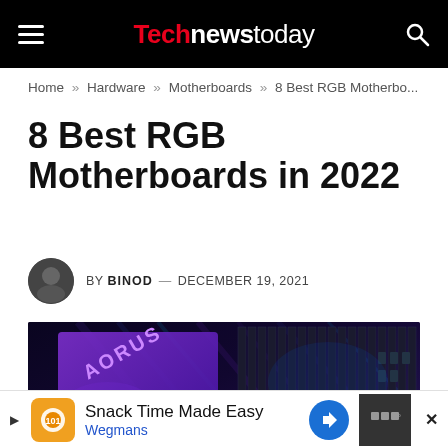Technewstoday
Home » Hardware » Motherboards » 8 Best RGB Motherbo...
8 Best RGB Motherboards in 2022
BY BINOD — DECEMBER 19, 2021
[Figure (photo): Close-up photo of an AORUS RGB gaming motherboard with purple and cyan LED lighting, showing heatsinks, VRM covers, and PCB components]
Snack Time Made Easy Wegmans